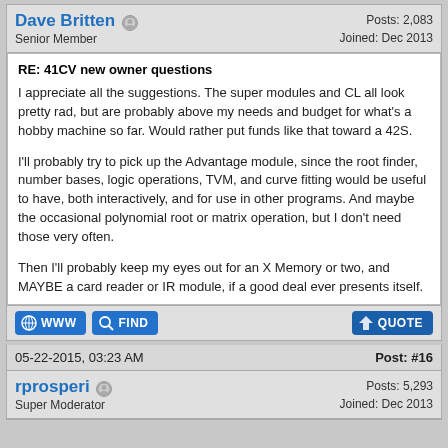Dave Britten
Senior Member
Posts: 2,083
Joined: Dec 2013
RE: 41CV new owner questions
I appreciate all the suggestions. The super modules and CL all look pretty rad, but are probably above my needs and budget for what's a hobby machine so far. Would rather put funds like that toward a 42S.
I'll probably try to pick up the Advantage module, since the root finder, number bases, logic operations, TVM, and curve fitting would be useful to have, both interactively, and for use in other programs. And maybe the occasional polynomial root or matrix operation, but I don't need those very often.
Then I'll probably keep my eyes out for an X Memory or two, and MAYBE a card reader or IR module, if a good deal ever presents itself.
05-22-2015, 03:23 AM
Post: #16
rprosperi
Super Moderator
Posts: 5,293
Joined: Dec 2013